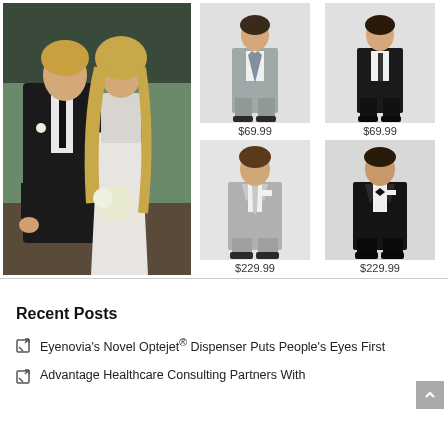[Figure (photo): Couple at a wedding: man in dark tuxedo suit with black tie, woman in white floral dress with bouquet]
[Figure (photo): Boy in light gray suit with tie, full body]
$69.99
[Figure (photo): Boy in black suit with white dress shirt, full body]
$69.99
[Figure (photo): Man in light gray suit, full body, adult]
$229.99
[Figure (photo): Man in black tuxedo with bow tie, full body, adult]
$229.99
Recent Posts
Eyenovia's Novel Optejet® Dispenser Puts People's Eyes First
Advantage Healthcare Consulting Partners With